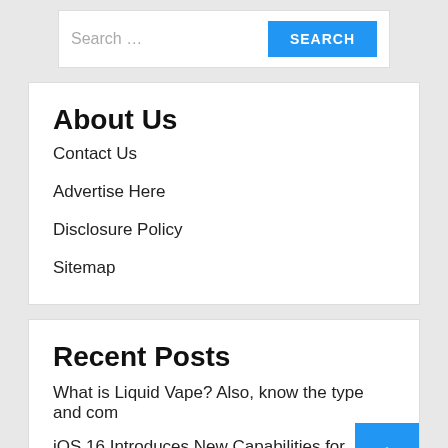[Figure (screenshot): Search input field with placeholder 'Search ...' and a blue SEARCH button]
About Us
Contact Us
Advertise Here
Disclosure Policy
Sitemap
Recent Posts
What is Liquid Vape? Also, know the type and com
iOS 16 Introduces New Capabilities for Accessories